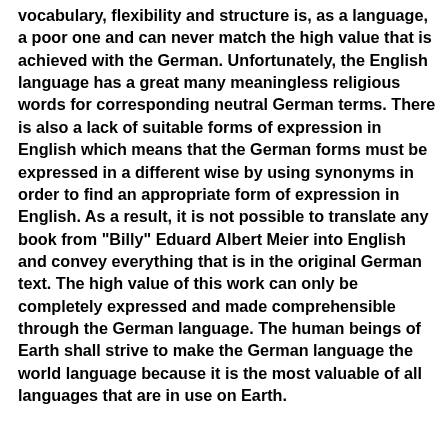vocabulary, flexibility and structure is, as a language, a poor one and can never match the high value that is achieved with the German. Unfortunately, the English language has a great many meaningless religious words for corresponding neutral German terms. There is also a lack of suitable forms of expression in English which means that the German forms must be expressed in a different wise by using synonyms in order to find an appropriate form of expression in English. As a result, it is not possible to translate any book from "Billy" Eduard Albert Meier into English and convey everything that is in the original German text. The high value of this work can only be completely expressed and made comprehensible through the German language. The human beings of Earth shall strive to make the German language the world language because it is the most valuable of all languages that are in use on Earth.